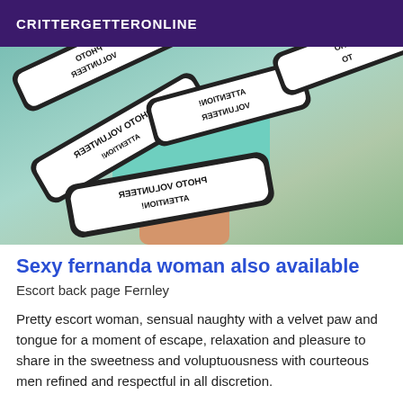CRITTERGETTERONLINE
[Figure (photo): A woman in a mint green dress standing behind multiple overlapping black-and-white signs with mirrored/reversed text reading 'PHOTO VOLUNTEER' and similar phrases, arranged at various diagonal angles.]
Sexy fernanda woman also available
Escort back page Fernley
Pretty escort woman, sensual naughty with a velvet paw and tongue for a moment of escape, relaxation and pleasure to share in the sweetness and voluptuousness with courteous men refined and respectful in all discretion.